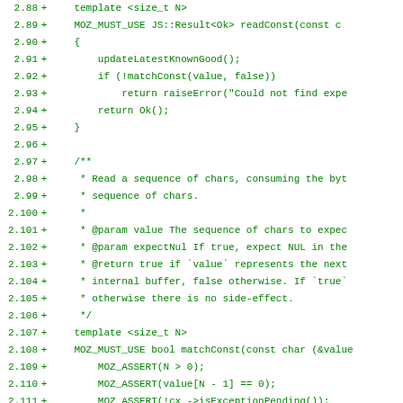[Figure (screenshot): A code diff view showing C++ source code lines 2.88 through 2.119+, all marked as additions with '+' signs. The code shows template functions readConst and matchConst with MOZ_MUST_USE macros, assertions, and comment documentation. Text is green on white background in monospace font.]